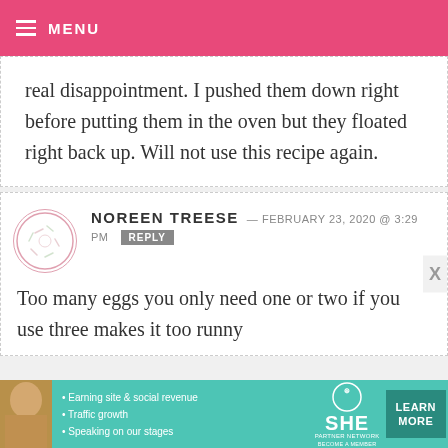MENU
real disappointment.  I pushed them down right before putting them in the oven but they floated right back up.  Will not use this recipe again.
NOREEN TREESE — FEBRUARY 23, 2020 @ 3:29 PM  REPLY
Too many eggs you only need one or two if you use three makes it too runny